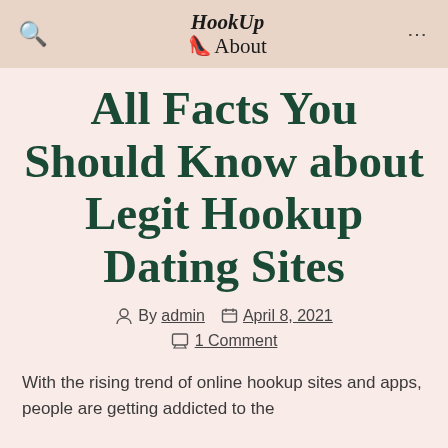HookUp About
All Facts You Should Know about Legit Hookup Dating Sites
By admin   April 8, 2021   1 Comment
With the rising trend of online hookup sites and apps, people are getting addicted to the